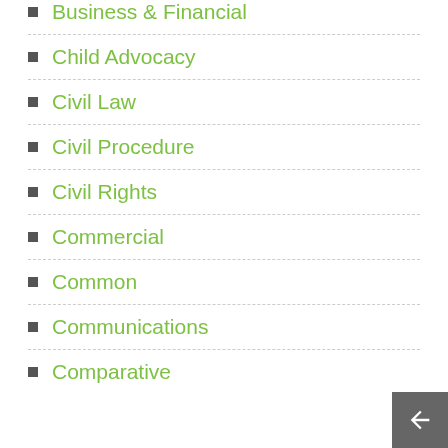Business & Financial
Child Advocacy
Civil Law
Civil Procedure
Civil Rights
Commercial
Common
Communications
Comparative